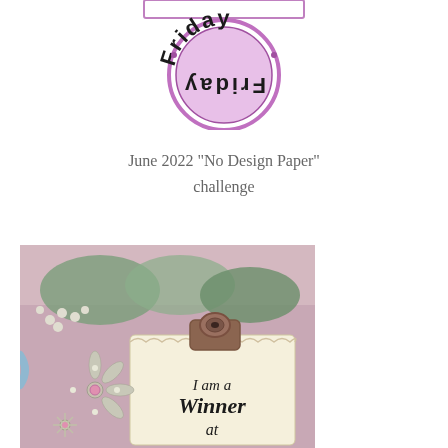[Figure (logo): Circular stamp/badge logo with pink/purple colors and text 'Friday' written upside-down in an arc, with a rectangular element at top]
June 2022 "No Design Paper" challenge
[Figure (illustration): Winner badge image showing a clipboard with a note saying 'I am a Winner at' with decorative jeweled snowflake/flower embellishments and greenery on a pink background]